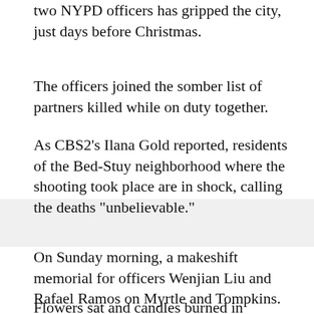two NYPD officers has gripped the city, just days before Christmas.
The officers joined the somber list of partners killed while on duty together.
As CBS2's Ilana Gold reported, residents of the Bed-Stuy neighborhood where the shooting took place are in shock, calling the deaths "unbelievable."
On Sunday morning, a makeshift memorial for officers Wenjian Liu and Rafael Ramos on Myrtle and Tompkins.
Flowers sat and candles burned in memories of the officers in the spot where they were killed while